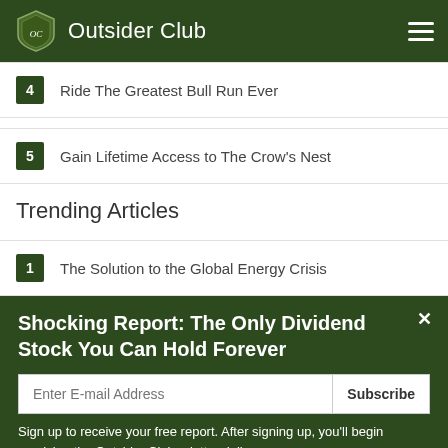Outsider Club
4  Ride The Greatest Bull Run Ever
5  Gain Lifetime Access to The Crow's Nest
Trending Articles
1  The Solution to the Global Energy Crisis
Shocking Report: The Only Dividend Stock You Can Hold Forever
Sign up to receive your free report. After signing up, you'll begin receiving the Outsider Club e-letter daily.